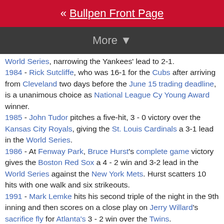« Bullpen Front Page
More ▼
World Series, narrowing the Yankees' lead to 2-1.
1984 - Rick Sutcliffe, who was 16-1 for the Cubs after arriving from Cleveland two days before the June 15 trading deadline, is a unanimous choice as National League Cy Young Award winner.
1985 - John Tudor pitches a five-hit, 3 - 0 victory over the Kansas City Royals, giving the St. Louis Cardinals a 3-1 lead in the World Series.
1986 - At Fenway Park, Bruce Hurst's complete game victory gives the Boston Red Sox a 4 - 2 win and 3-2 lead in the World Series against the New York Mets. Hurst scatters 10 hits with one walk and six strikeouts.
1991 - Mark Lemke hits his second triple of the night in the 9th inning and then scores on a close play on Jerry Willard's sacrifice fly for Atlanta's 3 - 2 win over the Twins.
1993 - In one of the most dramatic endings in World Series history, Joe Carter hits a three-run, 9th-inning home run off Mitch